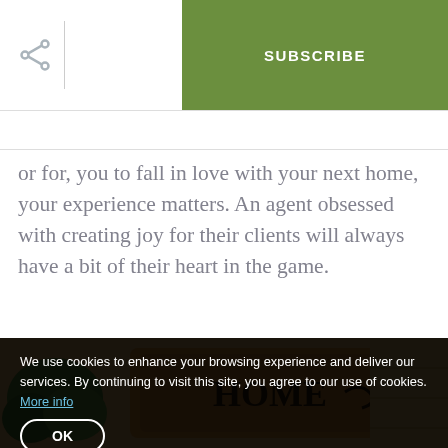SUBSCRIBE
or for, you to fall in love with your next home, your experience matters. An agent obsessed with creating joy for their clients will always have a bit of their heart in the game.
[Figure (photo): A doormat with the word HOME printed on it, surrounded by green plants and wooden flooring.]
We use cookies to enhance your browsing experience and deliver our services. By continuing to visit this site, you agree to our use of cookies. More info
OK